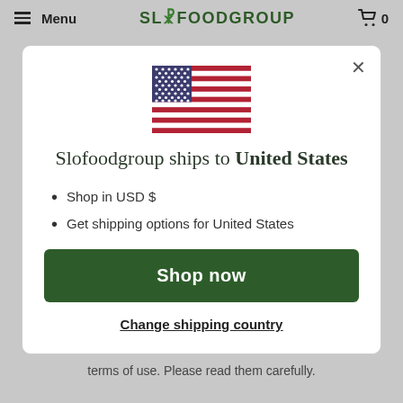Menu  SLOFOODGROUP  0
[Figure (illustration): US flag illustration]
Slofoodgroup ships to United States
Shop in USD $
Get shipping options for United States
Shop now
Change shipping country
terms of use. Please read them carefully.